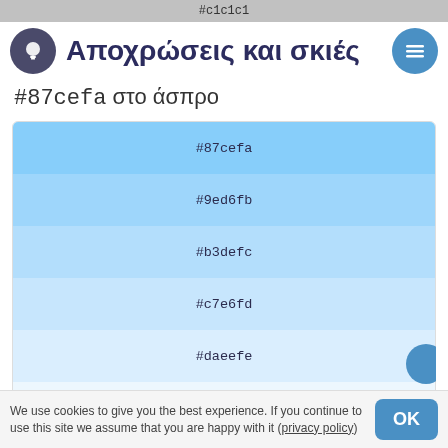#c1c1c1
Αποχρώσεις και σκιές
#87cefa στο άσπρο
| Color |
| --- |
| #87cefa |
| #9ed6fb |
| #b3defc |
| #c7e6fd |
| #daeefe |
| #edf7fe |
| #ffffff / #fff |
#87cefa στο μάυρο
We use cookies to give you the best experience. If you continue to use this site we assume that you are happy with it (privacy policy)